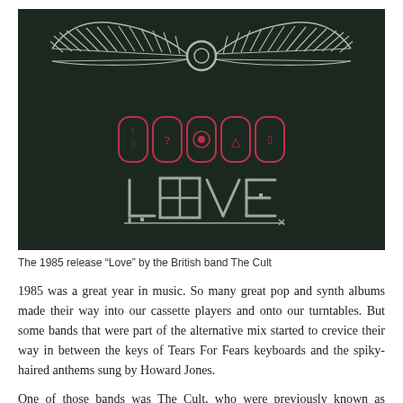[Figure (illustration): Album cover of 'Love' by The Cult (1985). Dark green/black background with a silver winged disc (Egyptian-style) at the top, red hieroglyphic cartouche symbols in the middle, and the word 'LOVE' in stylized silver lettering at the bottom.]
The 1985 release “Love” by the British band The Cult
1985 was a great year in music. So many great pop and synth albums made their way into our cassette players and onto our turntables. But some bands that were part of the alternative mix started to crevice their way in between the keys of Tears For Fears keyboards and the spiky-haired anthems sung by Howard Jones.
One of those bands was The Cult, who were previously known as Southern Death Cult. Their powerful sound, thundering bass and